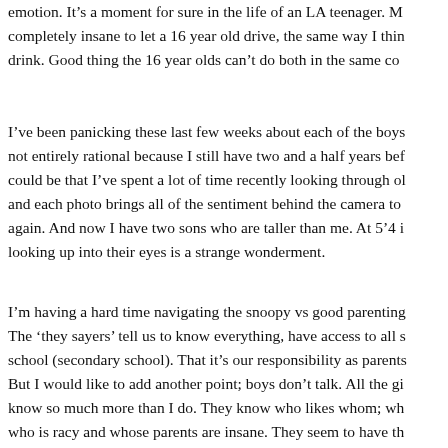emotion. It's a moment for sure in the life of an LA teenager. M... completely insane to let a 16 year old drive, the same way I thin... drink. Good thing the 16 year olds can't do both in the same co...
I've been panicking these last few weeks about each of the boys... not entirely rational because I still have two and a half years bef... could be that I've spent a lot of time recently looking through ol... and each photo brings all of the sentiment behind the camera to... again. And now I have two sons who are taller than me. At 5'4 i... looking up into their eyes is a strange wonderment.
I'm having a hard time navigating the snoopy vs good parenting... The 'they sayers' tell us to know everything, have access to all s... school (secondary school). That it's our responsibility as parents... But I would like to add another point; boys don't talk. All the gi... know so much more than I do. They know who likes whom; wh... who is racy and whose parents are insane. They seem to have th... most girls talk. My eldest was in a band of teenagers – four boy... wanted to know what was really going on we asked the girl mor...